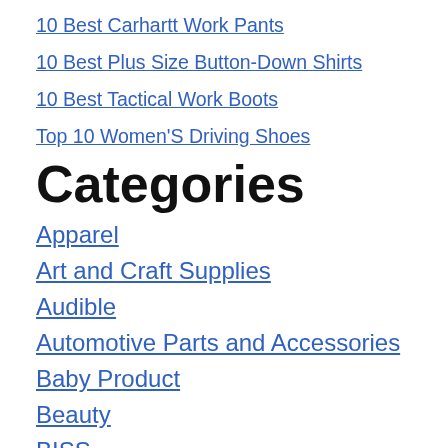10 Best Carhartt Work Pants
10 Best Plus Size Button-Down Shirts
10 Best Tactical Work Boots
Top 10 Women'S Driving Shoes
Categories
Apparel
Art and Craft Supplies
Audible
Automotive Parts and Accessories
Baby Product
Beauty
BISS
Book